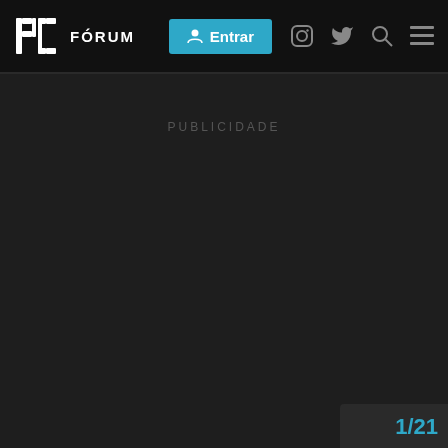bc FÓRUM — Entrar
PUBLICIDADE
1/21